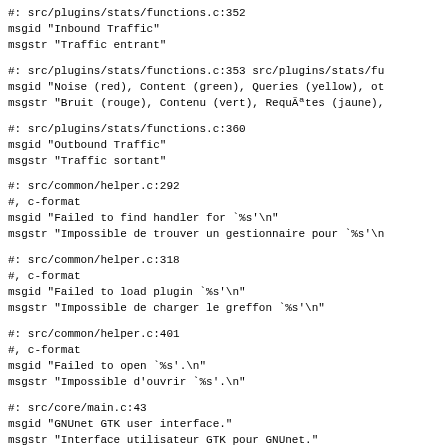#: src/plugins/stats/functions.c:352
msgid "Inbound Traffic"
msgstr "Traffic entrant"
#: src/plugins/stats/functions.c:353 src/plugins/stats/fu
msgid "Noise (red), Content (green), Queries (yellow), ot
msgstr "Bruit (rouge), Contenu (vert), RequÃªtes (jaune),
#: src/plugins/stats/functions.c:360
msgid "Outbound Traffic"
msgstr "Traffic sortant"
#: src/common/helper.c:292
#, c-format
msgid "Failed to find handler for `%s'\n"
msgstr "Impossible de trouver un gestionnaire pour `%s'\n
#: src/common/helper.c:318
#, c-format
msgid "Failed to load plugin `%s'\n"
msgstr "Impossible de charger le greffon `%s'\n"
#: src/common/helper.c:401
#, c-format
msgid "Failed to open `%s'.\n"
msgstr "Impossible d'ouvrir `%s'.\n"
#: src/core/main.c:43
msgid "GNUnet GTK user interface."
msgstr "Interface utilisateur GTK pour GNUnet."